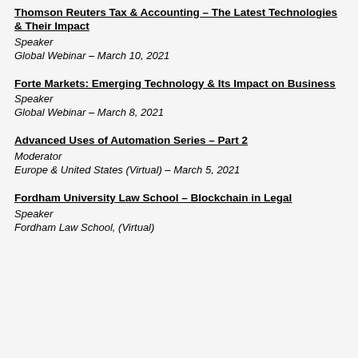Thomson Reuters Tax & Accounting – The Latest Technologies & Their Impact
Speaker
Global Webinar – March 10, 2021
Forte Markets: Emerging Technology & Its Impact on Business
Speaker
Global Webinar – March 8, 2021
Advanced Uses of Automation Series – Part 2
Moderator
Europe & United States (Virtual) – March 5, 2021
Fordham University Law School – Blockchain in Legal
Speaker
Fordham Law School, (Virtual)